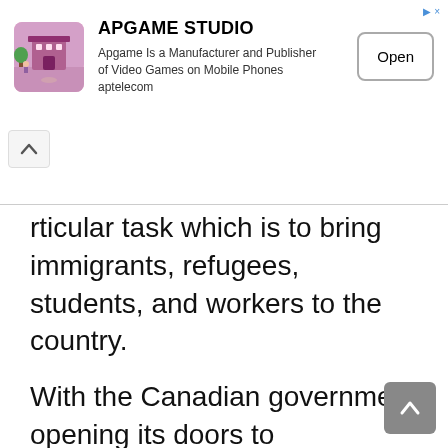[Figure (screenshot): Advertisement banner for APGAME STUDIO showing a colorful game building illustration, title 'APGAME STUDIO', description 'Apgame Is a Manufacturer and Publisher of Video Games on Mobile Phones aptelecom', and an 'Open' button]
particular task which is to bring immigrants, refugees, students, and workers to the country.
With the Canadian government opening its doors to immigrants and foreign skilled workers, the country's economy has grown significantly over the years, more jobs and business has been created, then vacant job positions